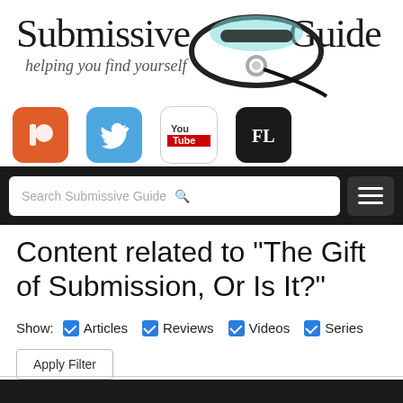[Figure (logo): Submissive Guide logo with tagline 'helping you find yourself' and a decorative collar/leash illustration]
[Figure (screenshot): Row of four social media icons: Patreon (orange), Twitter (blue), YouTube (white/red), FetLife (black FL)]
[Figure (screenshot): Black navigation bar with search input 'Search Submissive Guide' and hamburger menu button]
Content related to "The Gift of Submission, Or Is It?"
Show: ✓ Articles ✓ Reviews ✓ Videos ✓ Series
Apply Filter